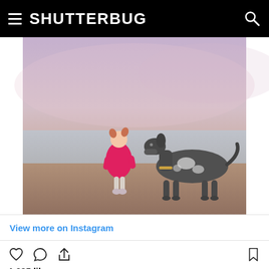SHUTTERBUG
[Figure (photo): A young toddler girl in a bright pink coat and light leggings stands on a sandy beach next to a large black-and-white Great Dane dog. The background shows calm water and a soft purple-pink sky.]
View more on Instagram
1,325 likes
Add a comment...